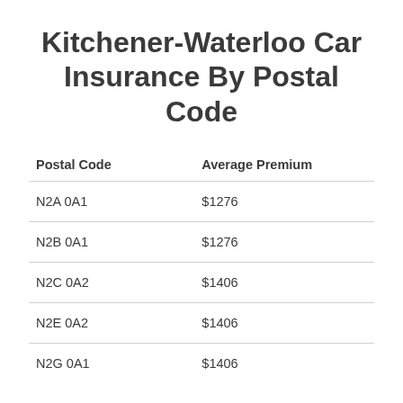Kitchener-Waterloo Car Insurance By Postal Code
| Postal Code | Average Premium |
| --- | --- |
| N2A 0A1 | $1276 |
| N2B 0A1 | $1276 |
| N2C 0A2 | $1406 |
| N2E 0A2 | $1406 |
| N2G 0A1 | $1406 |